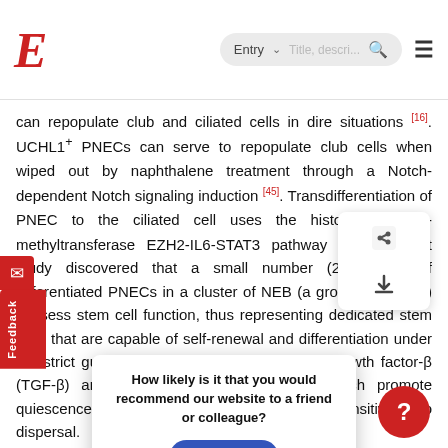E [logo] | Entry ▾ [search bar] 🔍 ☰
can repopulate club and ciliated cells in dire situations [16]. UCHL1⁺ PNECs can serve to repopulate club cells when wiped out by naphthalene treatment through a Notch-dependent Notch signaling induction [45]. Transdifferentiation of PNEC to the ciliated cell uses the histone-lysine N-methyltransferase EZH2-IL6-STAT3 pathway [46]. A recent study discovered that a small number (2–4 cells) of differentiated PNECs in a cluster of NEB (a group of PNECs) possess stem cell function, thus representing dedicated stem cells that are capable of self-renewal and differentiation under the strict guidance of niches as transforming growth factor-β (TGF-β) and retinoblastoma protein (Rb) which promote quiescence-/activity-dependent stem cell sensitivity to dispersal.